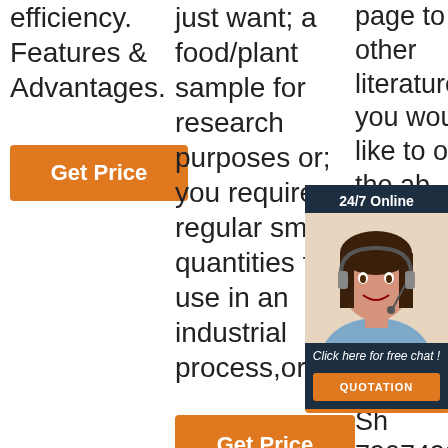efficiency. Features & Advantages.
[Figure (other): Orange 'Get Price' button in column 1]
just want; a food/plant sample for research purposes or; you require regular small quantities for use in an industrial process,or
[Figure (other): Orange 'Get Price' button in column 2]
page to view other literature. If you would like to order the ab... ca... ar... El... in... eS... Sh... Sh... 7907498.
[Figure (other): 24/7 Online chat popup overlay with customer service representative photo, 'Click here for free chat!' text, and QUOTATION button]
[Figure (other): Orange 'Get Price' button in column 3 with TOP arrow icon overlay]